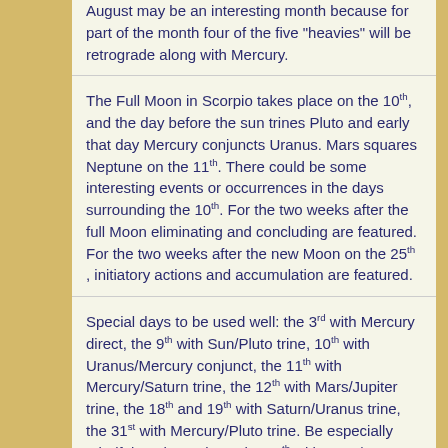August may be an interesting month because for part of the month four of the five "heavies" will be retrograde along with Mercury.
The Full Moon in Scorpio takes place on the 10th, and the day before the sun trines Pluto and early that day Mercury conjuncts Uranus. Mars squares Neptune on the 11th. There could be some interesting events or occurrences in the days surrounding the 10th. For the two weeks after the full Moon eliminating and concluding are featured. For the two weeks after the new Moon on the 25th , initiatory actions and accumulation are featured.
Special days to be used well: the 3rd with Mercury direct, the 9th with Sun/Pluto trine, 10th with Uranus/Mercury conjunct, the 11th with Mercury/Saturn trine, the 12th with Mars/Jupiter trine, the 18th and 19th with Saturn/Uranus trine, the 31st with Mercury/Pluto trine. Be especially mindful on these days: the 11th with Mars/Neptune square, the 25th with Venus/Pluto